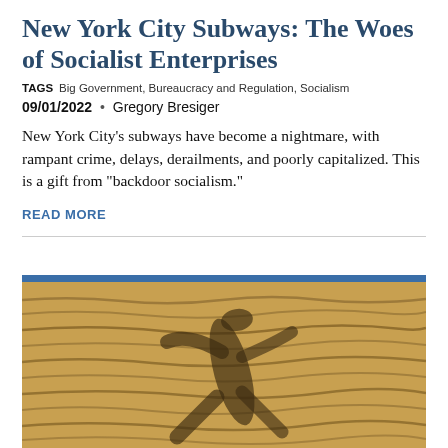New York City Subways: The Woes of Socialist Enterprises
TAGS  Big Government, Bureaucracy and Regulation, Socialism
09/01/2022 • Gregory Bresiger
New York City's subways have become a nightmare, with rampant crime, delays, derailments, and poorly capitalized. This is a gift from "backdoor socialism."
READ MORE
[Figure (photo): Shadow of a person running cast on rippled sand dunes, warm golden/tan tones with dark wavy lines in the sand.]